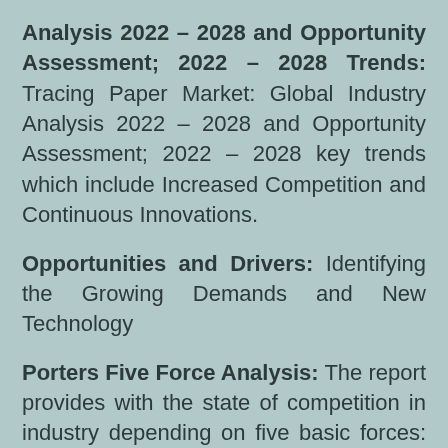Analysis 2022 – 2028 and Opportunity Assessment; 2022 – 2028 Trends: Tracing Paper Market: Global Industry Analysis 2022 – 2028 and Opportunity Assessment; 2022 – 2028 key trends which include Increased Competition and Continuous Innovations.
Opportunities and Drivers: Identifying the Growing Demands and New Technology
Porters Five Force Analysis: The report provides with the state of competition in industry depending on five basic forces: threat of new entrants, bargaining power of suppliers,